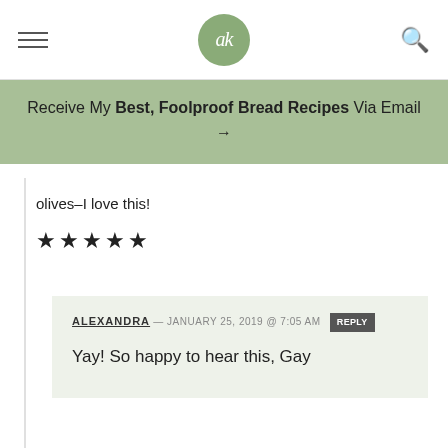ak — navigation header with logo
Receive My Best, Foolproof Bread Recipes Via Email →
olives–I love this!
★★★★★
ALEXANDRA — JANUARY 25, 2019 @ 7:05 AM  REPLY
Yay! So happy to hear this, Gay